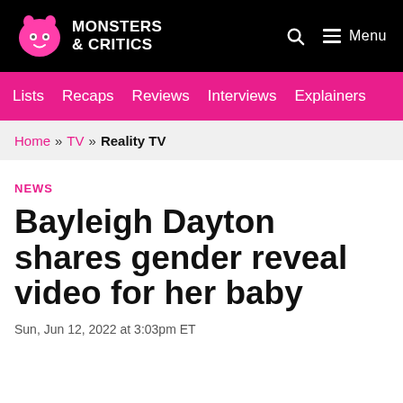Monsters & Critics
Lists  Recaps  Reviews  Interviews  Explainers
Home » TV » Reality TV
NEWS
Bayleigh Dayton shares gender reveal video for her baby
Sun, Jun 12, 2022 at 3:03pm ET